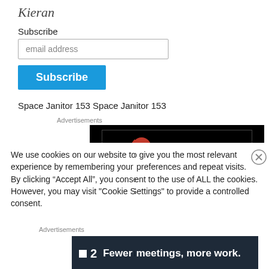Kieran
Subscribe
email address
Subscribe
Space Janitor 153 Space Janitor 153
Advertisements
[Figure (logo): Longreads logo with red circle L and white text on black background]
We use cookies on our website to give you the most relevant experience by remembering your preferences and repeat visits. By clicking “Accept All”, you consent to the use of ALL the cookies. However, you may visit "Cookie Settings" to provide a controlled consent.
Advertisements
[Figure (logo): Dark banner ad: F2 logo with white square and number 2, text Fewer meetings, more work.]